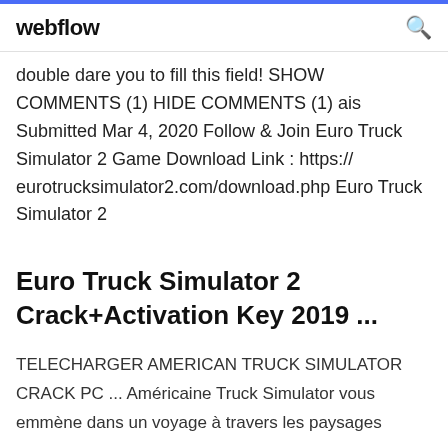webflow
double dare you to fill this field! SHOW COMMENTS (1) HIDE COMMENTS (1) ais Submitted Mar 4, 2020 Follow & Join Euro Truck Simulator 2 Game Download Link : https://eurotrucksimulator2.com/download.php Euro Truck Simulator 2
Euro Truck Simulator 2 Crack+Activation Key 2019 ...
TELECHARGER AMERICAN TRUCK SIMULATOR CRACK PC ... Américaine Truck Simulator vous emmène dans un voyage à travers les paysages